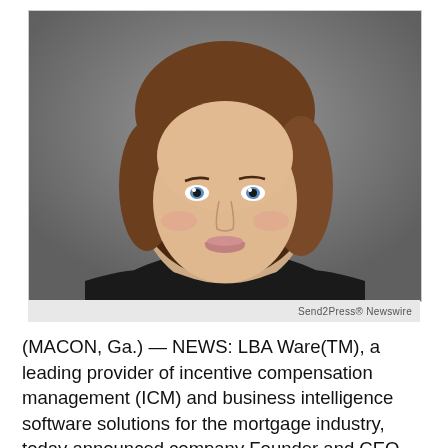[Figure (photo): Professional headshot of a woman with brown shoulder-length hair and blue eyes, wearing a dark blazer with white collar, smiling against a grey background.]
Send2Press® Newswire
(MACON, Ga.) — NEWS: LBA Ware(TM), a leading provider of incentive compensation management (ICM) and business intelligence software solutions for the mortgage industry, today announced company Founder and CEO Lori Brewer has been named an honoree of NEXT Mortgage Events' (NEXT) 50 Over 50